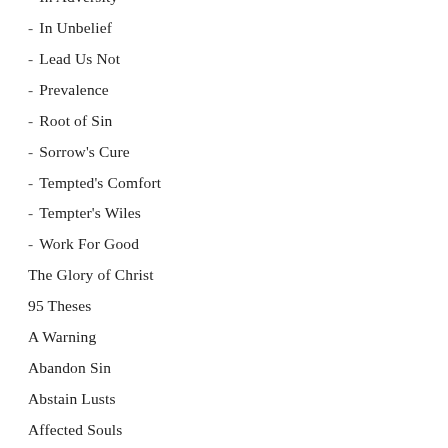- In Adversity
- In Unbelief
- Lead Us Not
- Prevalence
- Root of Sin
- Sorrow's Cure
- Tempted's Comfort
- Tempter's Wiles
- Work For Good
The Glory of Christ
95 Theses
A Warning
Abandon Sin
Abstain Lusts
Affected Souls